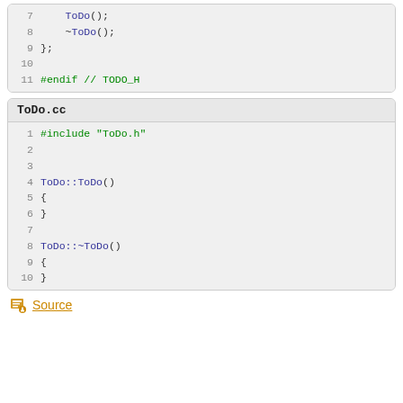[Figure (screenshot): Code snippet showing lines 7-11 of a C++ header file with ToDo(); ~ToDo(); }; and #endif // TODO_H]
[Figure (screenshot): Code snippet showing ToDo.cc file with #include 'ToDo.h', ToDo::ToDo() constructor and ToDo::~ToDo() destructor]
Source